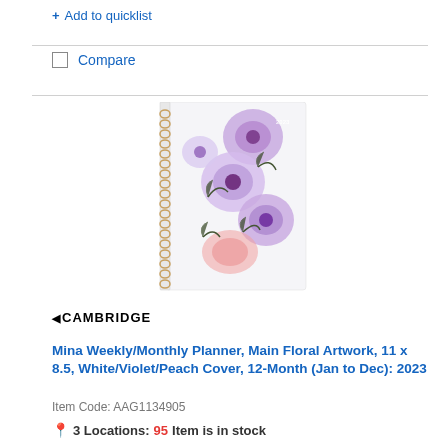+ Add to quicklist
Compare
[Figure (photo): Cambridge Mina Weekly/Monthly Planner with floral artwork cover — spiral-bound planner with watercolor purple/violet flowers and peach accent on white background]
CAMBRIDGE
Mina Weekly/Monthly Planner, Main Floral Artwork, 11 x 8.5, White/Violet/Peach Cover, 12-Month (Jan to Dec): 2023
Item Code: AAG1134905
3 Locations: 95 Item is in stock